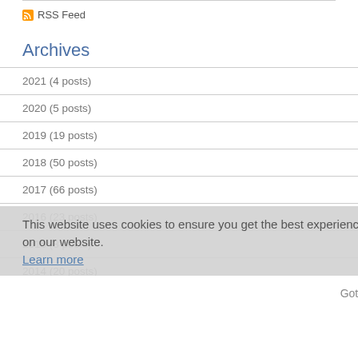RSS Feed
Archives
2021 (4 posts)
2020 (5 posts)
2019 (19 posts)
2018 (50 posts)
2017 (66 posts)
2016 (23 posts)
2015 (8 posts)
2014 (20 posts)
This website uses cookies to ensure you get the best experience on our website. Learn more
Got it!